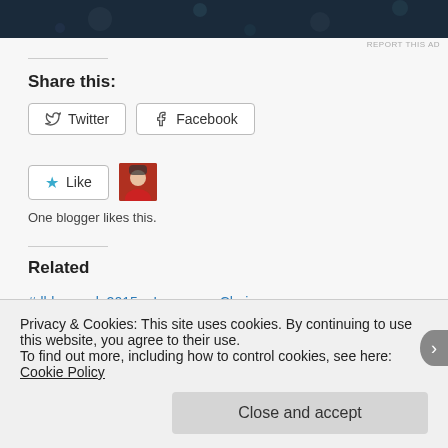[Figure (photo): Dark blue ad banner at the top of the page]
REPORT THIS AD
Share this:
Twitter  Facebook
Like  [avatar thumbnail]
One blogger likes this.
Related
#dblogweek 2015 – I can
May 11, 2015
In "Diabetes"
Choice
May 9, 2016
In "Diabetes"
Privacy & Cookies: This site uses cookies. By continuing to use this website, you agree to their use.
To find out more, including how to control cookies, see here: Cookie Policy
Close and accept